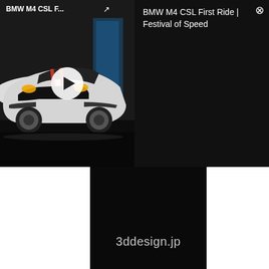[Figure (screenshot): Video player banner showing BMW M4 CSL car in dark event setting with play button overlay, title 'BMW M4 CSL F...' and share icon on thumbnail, and video title 'BMW M4 CSL First Ride | Festival of Speed' on dark right panel with close X button]
[Figure (screenshot): Dark promotional box with text '3ddesign.jp' in light gray/white font on black background]